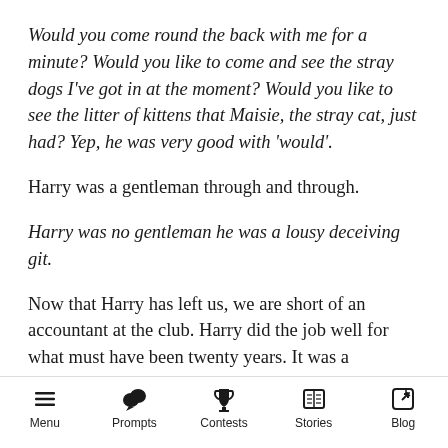Would you come round the back with me for a minute? Would you like to come and see the stray dogs I’ve got in at the moment? Would you like to see the litter of kittens that Maisie, the stray cat, just had? Yep, he was very good with ‘would’.
Harry was a gentleman through and through.
Harry was no gentleman he was a lousy deceiving git.
Now that Harry has left us, we are short of an accountant at the club. Harry did the job well for what must have been twenty years. It was a voluntary position, as you all know. Now we
Menu   Prompts   Contests   Stories   Blog